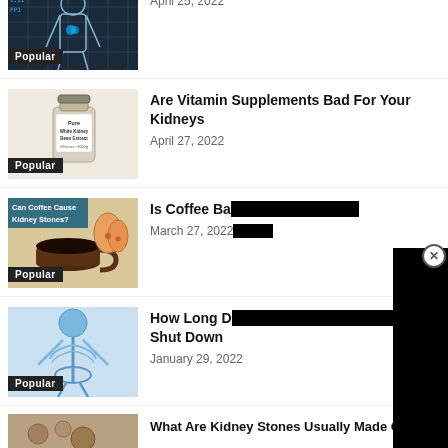[Figure (photo): Body scan / human silhouette with highlighted organs on dark background]
Popular
April 25, 2022
[Figure (photo): Vitamin supplement bottle - Pure White Kidney Bean Extract]
Popular
Are Vitamin Supplements Bad For Your Kidneys
April 27, 2022
[Figure (photo): Coffee cup with kidneys illustration, text: Can Coffee Cause Kidney Stones? ePainAssist]
Popular
Is Coffee Ba[d For Your Kidneys]
March 27, 2022
[Figure (photo): Blue toned skeleton/human body illustration]
Popular
How Long Do You Live After Your Kidneys Shut Down
January 29, 2022
[Figure (photo): Kidney stones close-up photo]
What Are Kidney Stones Usually Made Of